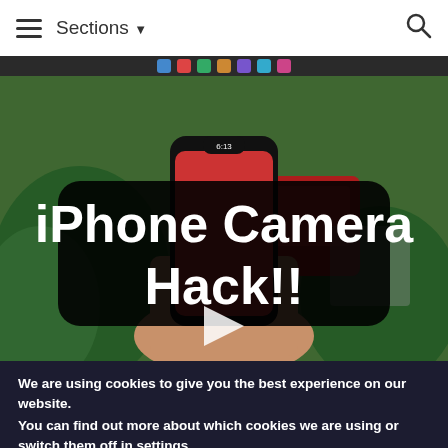≡  Sections ▾  🔍
[Figure (screenshot): Video thumbnail showing a hand holding an iPhone in an outdoor setting with plants and a red vehicle in background. A large black rounded rectangle overlay reads 'iPhone Camera Hack!!' in bold white text. A white play button triangle is centered on the thumbnail. The phone screen shows 6:13 and signal/wifi/battery icons.]
We are using cookies to give you the best experience on our website.
You can find out more about which cookies we are using or switch them off in settings.
Accept